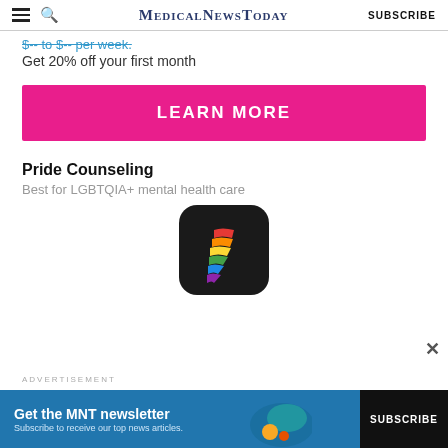MedicalNewsToday SUBSCRIBE
$-- to $-- per week.
Get 20% off your first month
LEARN MORE
Pride Counseling
Best for LGBTQIA+ mental health care
[Figure (logo): Pride Counseling app icon: dark rounded square with rainbow-striped letter F logo]
ADVERTISEMENT
Get the MNT newsletter
Subscribe to receive our top news articles. SUBSCRIBE